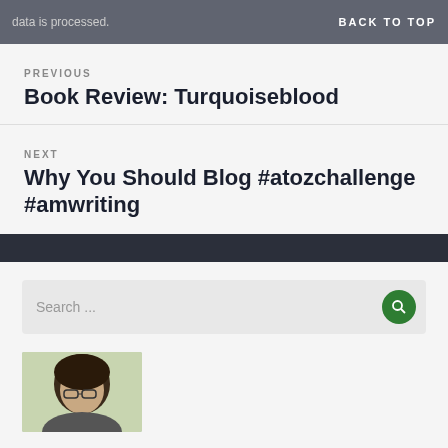data is processed.
BACK TO TOP
PREVIOUS
Book Review: Turquoiseblood
NEXT
Why You Should Blog #atozchallenge #amwriting
Search ...
[Figure (photo): Partial photo of a person with dark hair and glasses]